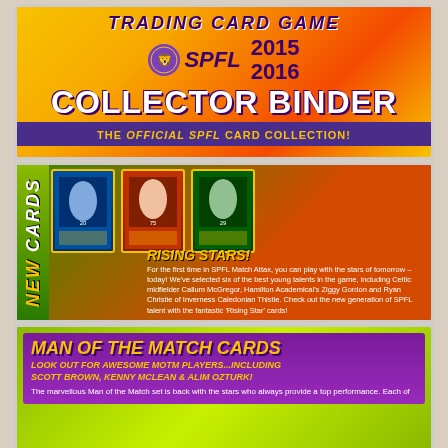[Figure (infographic): SPFL Match Attax Trading Card Game 2015-2016 Collector Binder banner. Orange/yellow gradient background with SPFL lion logo. Text: TRADING CARD GAME, COLLECTOR BINDER, 2015 2016, THE OFFICIAL SPFL CARD COLLECTION!]
[Figure (infographic): NEW CARDS section with Rising Stars promotion. Shows three trading cards (blue, red, green). Text: RISING STARS! For the first time in SPFL Match Attax, you can play with the stars of tomorrow - today! We've selected six of the best young talents in the game, including Celtic midfielder Callum McGregor, Hamilton Academical's Ziggy Gordon and Ryan Christie of Inverness Caledonian Thistle. Check out the new generation of SPFL talent with the fantastic 'Rising Star' cards!]
[Figure (infographic): MAN OF THE MATCH CARDS section. Green background with purple inner box. Text: MAN OF THE MATCH CARDS, LOOK OUT FOR AWESOME MOTM PLAYERS...INCLUDING SCOTT BROWN, KENNY McLEAN & ALIM OZTURK!, The marvellous Man of the Match set is back with the stars who always provide a top performance. Each of]